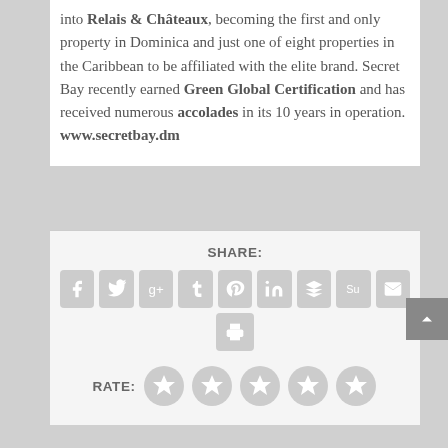into Relais & Châteaux, becoming the first and only property in Dominica and just one of eight properties in the Caribbean to be affiliated with the elite brand. Secret Bay recently earned Green Global Certification and has received numerous accolades in its 10 years in operation. www.secretbay.dm
SHARE:
[Figure (infographic): Social share buttons: Facebook, Twitter, Google+, Tumblr, Pinterest, LinkedIn, Buffer, StumbleUpon, Email, Print]
RATE:
[Figure (infographic): Five star rating icons (all empty/grey)]